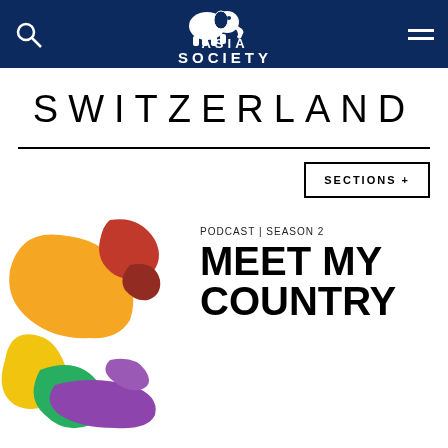Asia Society
SWITZERLAND
SECTIONS +
PODCAST | SEASON 2
MEET MY COUNTRY
[Figure (illustration): Colorful abstract map illustration with regions in orange, red, yellow, green, and purple shapes]